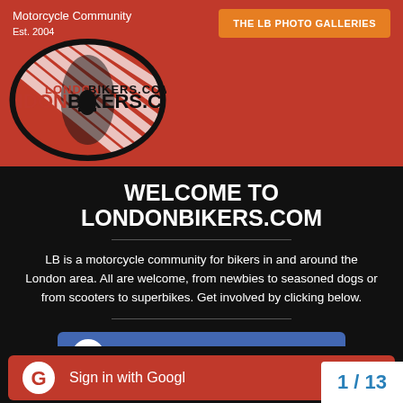Motorcycle Community
Est. 2004
THE LB PHOTO GALLERIES
[Figure (logo): LondonBikers.com oval logo with red and white stripes and a silhouette of a motorcyclist]
WELCOME TO LONDONBIKERS.COM
LB is a motorcycle community for bikers in and around the London area. All are welcome, from newbies to seasoned dogs or from scooters to superbikes. Get involved by clicking below.
Sign in with Facebook
Sign in with Google
1 / 13